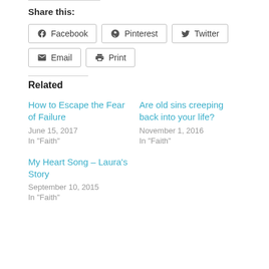Share this:
Facebook
Pinterest
Twitter
Email
Print
Related
How to Escape the Fear of Failure
June 15, 2017
In "Faith"
Are old sins creeping back into your life?
November 1, 2016
In "Faith"
My Heart Song – Laura's Story
September 10, 2015
In "Faith"